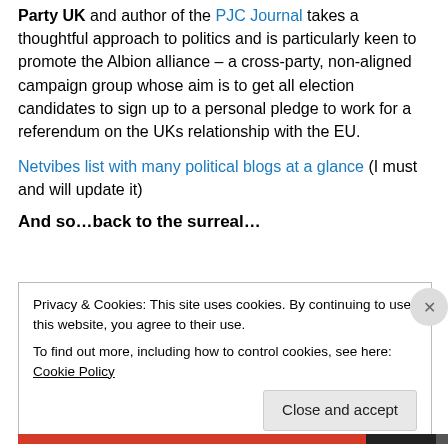Party UK and author of the PJC Journal takes a thoughtful approach to politics and is particularly keen to promote the Albion alliance – a cross-party, non-aligned campaign group whose aim is to get all election candidates to sign up to a personal pledge to work for a referendum on the UKs relationship with the EU.
Netvibes list with many political blogs at a glance (I must and will update it)
And so…back to the surreal…
Privacy & Cookies: This site uses cookies. By continuing to use this website, you agree to their use.
To find out more, including how to control cookies, see here: Cookie Policy